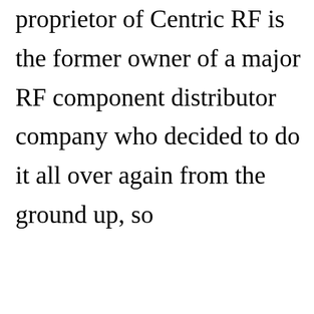proprietor of Centric RF is the former owner of a major RF component distributor company who decided to do it all over again from the ground up, so